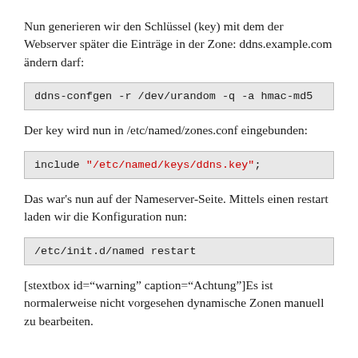Nun generieren wir den Schlüssel (key) mit dem der Webserver später die Einträge in der Zone: ddns.example.com ändern darf:
ddns-confgen -r /dev/urandom -q -a hmac-md5
Der key wird nun in /etc/named/zones.conf eingebunden:
include "/etc/named/keys/ddns.key";
Das war's nun auf der Nameserver-Seite. Mittels einen restart laden wir die Konfiguration nun:
/etc/init.d/named restart
[stextbox id="warning" caption="Achtung"]Es ist normalerweise nicht vorgesehen dynamische Zonen manuell zu bearbeiten.